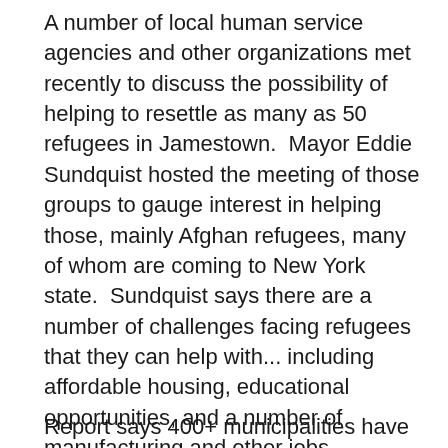A number of local human service agencies and other organizations met recently to discuss the possibility of helping to resettle as many as 50 refugees in Jamestown.  Mayor Eddie Sundquist hosted the meeting of those groups to gauge interest in helping those, mainly Afghan refugees, many of whom are coming to New York state.  Sundquist says there are a number of challenges facing refugees that they can help with... including affordable housing, educational opportunities, and a number of manufacturing and other jobs available.  Sundquist adds that discussions are very preliminary at this point... but, he says it was important to have the agencies come together to see what they could offer.  President Joe Biden has set a refugee resettlement ceiling of 125,000 for fiscal year 2022... which began in October... and, fulfilling a commitment he made during his campaign.
Report says 400+ municipalities have opted out of